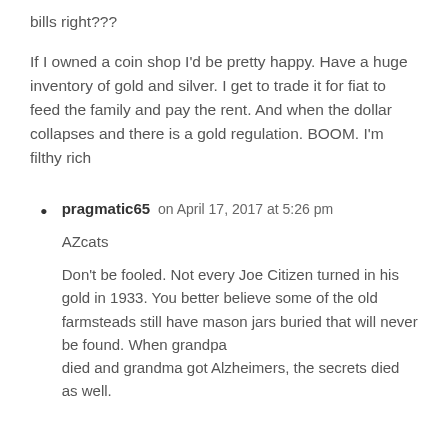bills right???
If I owned a coin shop I'd be pretty happy. Have a huge inventory of gold and silver. I get to trade it for fiat to feed the family and pay the rent. And when the dollar collapses and there is a gold regulation. BOOM. I'm filthy rich
pragmatic65 on April 17, 2017 at 5:26 pm
AZcats
Don't be fooled. Not every Joe Citizen turned in his gold in 1933. You better believe some of the old farmsteads still have mason jars buried that will never be found. When grandpa died and grandma got Alzheimers, the secrets died as well.